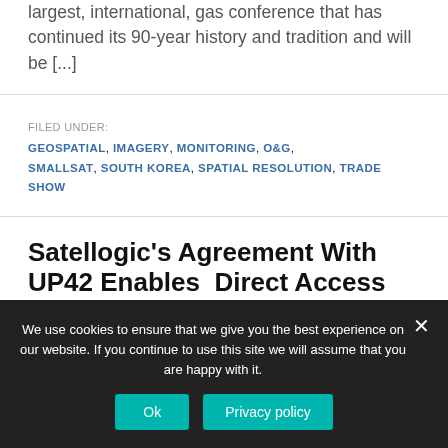largest, international, gas conference that has continued its 90-year history and tradition and will be [...]
FILED UNDER: GEOSPATIAL, IMAGERY, MONITORING, O&G, SMALLSAT, SOUTH KOREA, SPATIAL RESOLUTION, TRADE SHOW
Satellogic's Agreement With UP42 Enables  Direct Access To Satellogic's
We use cookies to ensure that we give you the best experience on our website. If you continue to use this site we will assume that you are happy with it.